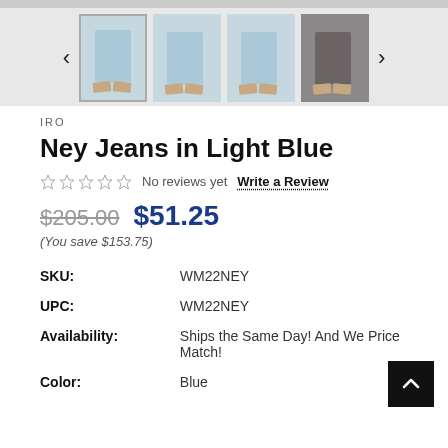[Figure (screenshot): Thumbnail image carousel showing 4 product images of light blue jeans with navigation arrows on each side. First image is selected/highlighted.]
IRO
Ney Jeans in Light Blue
No reviews yet   Write a Review
$205.00  $51.25
(You save $153.75)
| SKU: | WM22NEY |
| UPC: | WM22NEY |
| Availability: | Ships the Same Day! And We Price Match! |
| Color: | Blue |